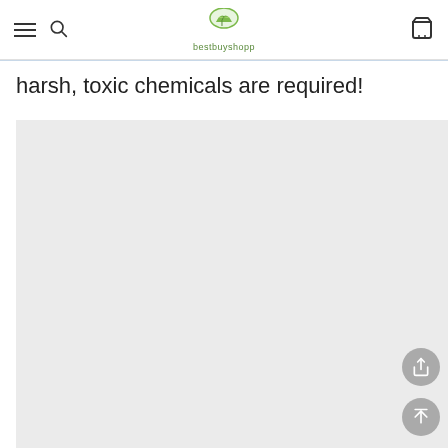bestbuyshopp
harsh, toxic chemicals are required!
[Figure (photo): Large light gray image placeholder area occupying the lower portion of the page, with a share button and scroll-to-top button on the right side.]